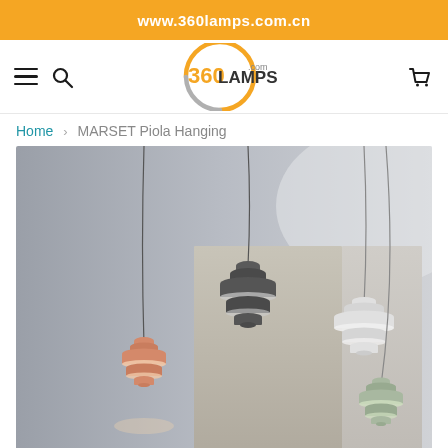www.360lamps.com.cn
[Figure (logo): 360LAMPS.com logo — orange circle with grey text]
Home > MARSET Piola Hanging
[Figure (photo): Product photo showing multiple MARSET Piola pendant lamps hanging from ceiling in various colors (salmon/copper, dark grey, white, sage/green) against a grey background with a decorative panel]